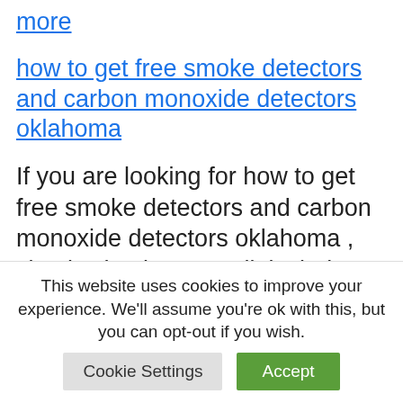more
how to get free smoke detectors and carbon monoxide detectors oklahoma
If you are looking for how to get free smoke detectors and carbon monoxide detectors oklahoma , simply check out our links below: Free Smoke Alarms – Oklahoma City Residents | City of OKC We believe every home in Oklahoma City should
This website uses cookies to improve your experience. We'll assume you're ok with this, but you can opt-out if you wish.